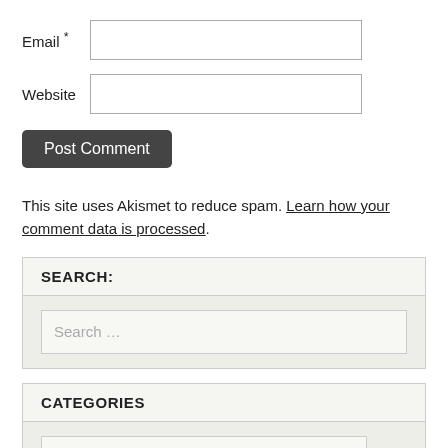Email *
Website
Post Comment
This site uses Akismet to reduce spam. Learn how your comment data is processed.
SEARCH:
Search …
CATEGORIES
Select Category